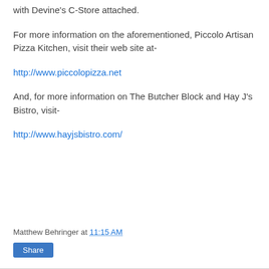with Devine's C-Store attached.
For more information on the aforementioned, Piccolo Artisan Pizza Kitchen, visit their web site at-
http://www.piccolopizza.net
And, for more information on The Butcher Block and Hay J's Bistro, visit-
http://www.hayjsbistro.com/
Matthew Behringer at 11:15 AM
Share